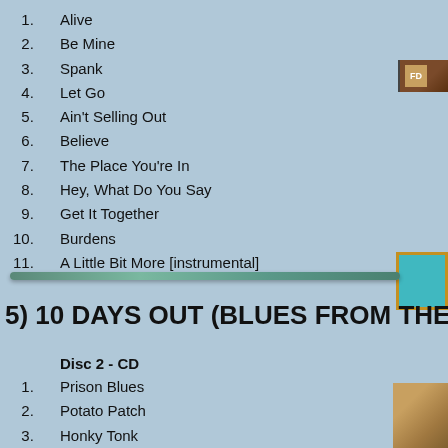1.  Alive
2.  Be Mine
3.  Spank
4.  Let Go
5.  Ain't Selling Out
6.  Believe
7.  The Place You're In
8.  Hey, What Do You Say
9.  Get It Together
10.  Burdens
11.  A Little Bit More [instrumental]
[Figure (illustration): Small brownish album art thumbnail in top right corner]
[Figure (illustration): Gold-bordered teal/cyan square thumbnail on right side]
5) 10 DAYS OUT (BLUES FROM THE BACKR
Disc 2 - CD
1.  Prison Blues
2.  Potato Patch
3.  Honky Tonk
4.  The Thrill Is Gone
5.  Tina Marie
6.  Born In Louisiana
[Figure (photo): Small sandy/earthy album art thumbnail in bottom right corner]